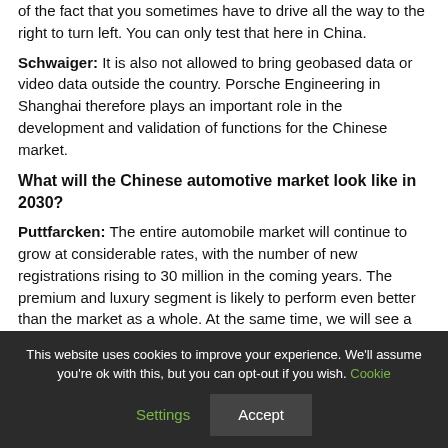of the fact that you sometimes have to drive all the way to the right to turn left. You can only test that here in China.
Schwaiger: It is also not allowed to bring geobased data or video data outside the country. Porsche Engineering in Shanghai therefore plays an important role in the development and validation of functions for the Chinese market.
What will the Chinese automotive market look like in 2030?
Puttfarcken: The entire automobile market will continue to grow at considerable rates, with the number of new registrations rising to 30 million in the coming years. The premium and luxury segment is likely to perform even better than the market as a whole. At the same time, we will see a significant push with battery electric vehicles because they make it easier to get started with digital networking and digital services. This is the best way for carmakers to connect their products with the reality of their customers' lives,
This website uses cookies to improve your experience. We'll assume you're ok with this, but you can opt-out if you wish. Cookie Settings  Accept